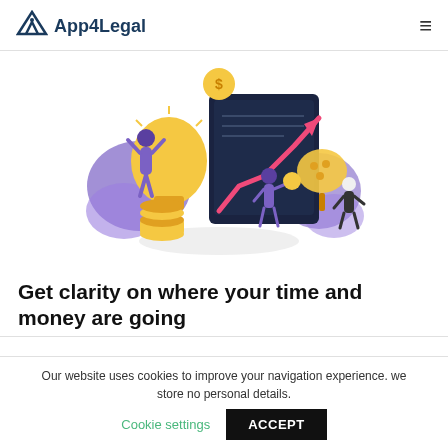App4Legal
[Figure (illustration): A colorful illustration showing people with a large lightbulb, gold coins, an upward trending pink arrow chart on a dark tablet/clipboard, and purple organic shapes — representing financial growth and legal clarity.]
Get clarity on where your time and money are going
Our website uses cookies to improve your navigation experience. we store no personal details. Cookie settings ACCEPT